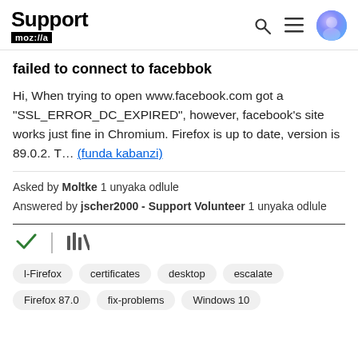Support mozilla
failed to connect to facebbok
Hi, When trying to open www.facebook.com got a "SSL_ERROR_DC_EXPIRED", however, facebook's site works just fine in Chromium. Firefox is up to date, version is 89.0.2. T... (funda kabanzi)
Asked by Moltke 1 unyaka odlule
Answered by jscher2000 - Support Volunteer 1 unyaka odlule
[Figure (other): Checkmark icon and bars/library icon]
l-Firefox   certificates   desktop   escalate   Firefox 87.0   fix-problems   Windows 10